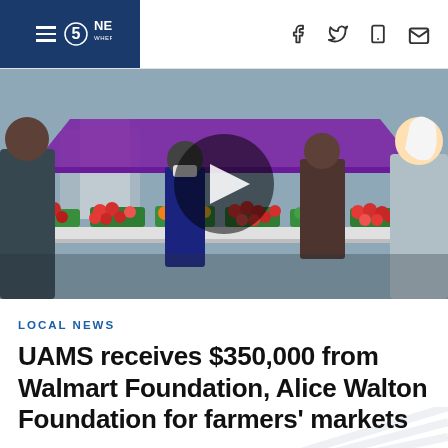5 NEWS WHERE YOU LIVE
[Figure (photo): Farmers market scene with produce tables covered by a purple tent canopy. Red tomatoes, colorful peppers and other vegetables displayed on tables. People browsing the market. A video play button overlay appears in the center.]
LOCAL NEWS
UAMS receives $350,000 from Walmart Foundation, Alice Walton Foundation for farmers' markets